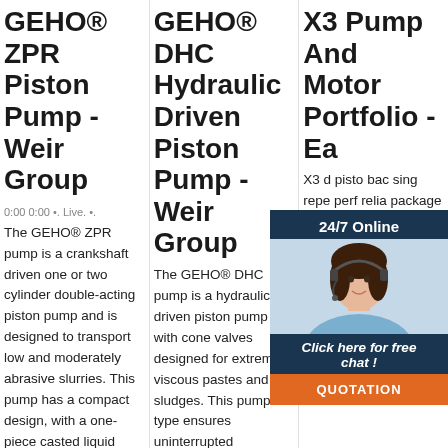GEHO® ZPR Piston Pump - Weir Group
0:00 0:00 •. Live. •.
The GEHO® ZPR pump is a crankshaft driven one or two cylinder double-acting piston pump and is designed to transport low and moderately abrasive slurries. This pump has a compact design, with a one-piece casted liquid end. It covers a wide
GEHO® DHC Hydraulic Driven Piston Pump - Weir Group
The GEHO® DHC pump is a hydraulic driven piston pump with cone valves designed for extremely viscous pastes and sludges. This pump type ensures uninterrupted
X3 Pump And Motor Portfolio - Ea
X3 d pisto bac sing repe perf relia package and superior value. 41cc and 49cc displacements. Competitive packaging. Best-in-class accuracy. Pro-FX
[Figure (photo): 24/7 Online chat overlay with a customer service representative wearing a headset, smiling. Includes a 'Click here for free chat!' message and an orange QUOTATION button.]